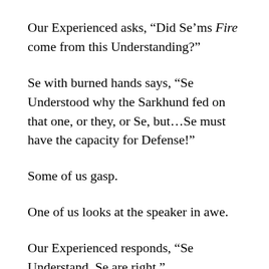Our Experienced asks, “Did Se’ms Fire come from this Understanding?”
Se with burned hands says, “Se Understood why the Sarkhund fed on that one, or they, or Se, but…Se must have the capacity for Defense!”
Some of us gasp.
One of us looks at the speaker in awe.
Our Experienced responds, “Se Understand. Se are right.”
Se with burned hands shouts back, “You do